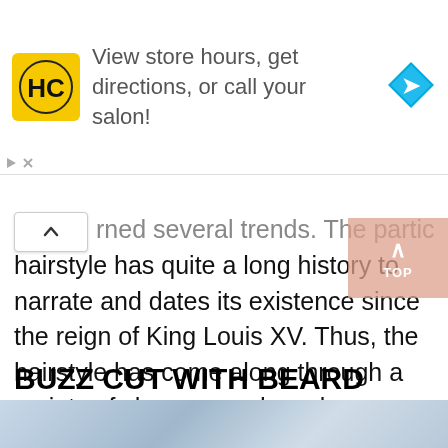[Figure (infographic): Advertisement banner for a hair salon (HC logo in yellow square, text 'View store hours, get directions, or call your salon!', blue direction arrow icon on right)]
rned several trends. The particular hairstyle has quite a long history to narrate and dates its existence since the reign of King Louis XV. Thus, the hairstyle has come along through a variety of changes and can be seen paired with numerous other types of hairstyles such as the buzz cut, and the undercut hairstyle.
BUZZ CUT WITH BEARD
[Figure (photo): Partial photo at the bottom of the page, showing a blurred outdoor scene]